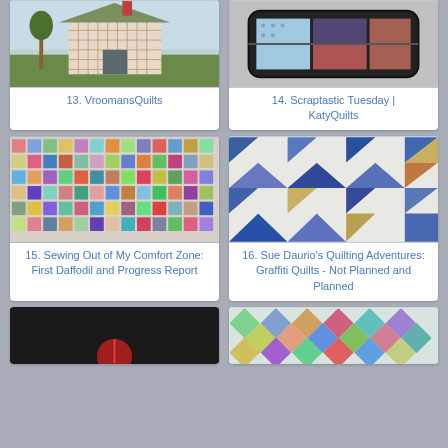[Figure (photo): Quilt with house pattern in plaid fabrics on blue background]
13. VroomansQuilts
[Figure (photo): Sewing kit or case with colorful fabrics inside a black case]
14. Scraptastic Tuesday | KatyQuilts
[Figure (photo): Colorful scrappy patchwork quilt with small multicolored squares]
15. Sewing Out of My Comfort Zone: First Daffodil and Progress Report
[Figure (photo): Quilt with blue and white triangle pattern]
16. Sue Daurio's Quilting Adventures: Graffiti Quilts - Not Planned and Planned
[Figure (photo): Dark image, partially visible, quilting project]
[Figure (photo): Colorful diamond/square pattern quilt in progress]